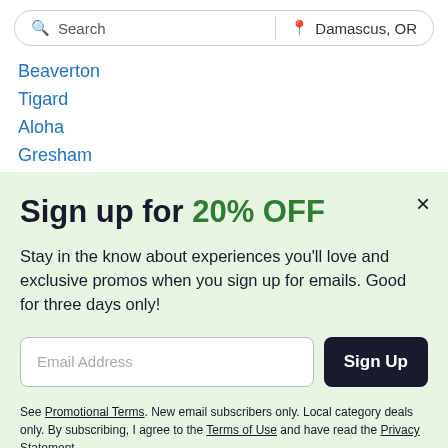Search | Damascus, OR
Beaverton
Tigard
Aloha
Gresham
Sign up for 20% OFF
Stay in the know about experiences you'll love and exclusive promos when you sign up for emails. Good for three days only!
Email Address
Sign Up
See Promotional Terms. New email subscribers only. Local category deals only. By subscribing, I agree to the Terms of Use and have read the Privacy Statement